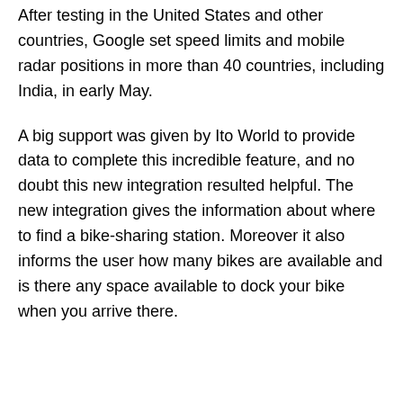After testing in the United States and other countries, Google set speed limits and mobile radar positions in more than 40 countries, including India, in early May.
A big support was given by Ito World to provide data to complete this incredible feature, and no doubt this new integration resulted helpful. The new integration gives the information about where to find a bike-sharing station. Moreover it also informs the user how many bikes are available and is there any space available to dock your bike when you arrive there.